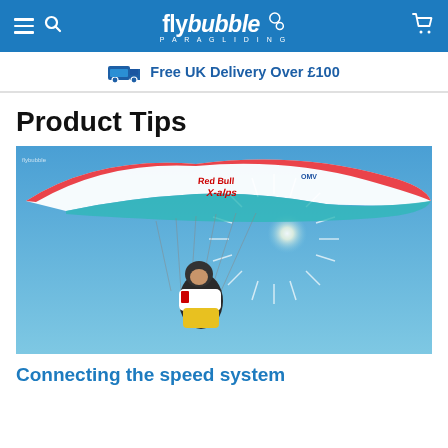flybubble PARAGLIDING
Free UK Delivery Over £100
Product Tips
[Figure (photo): A paraglider pilot flying under a Red Bull X-Alps branded paraglider wing against a bright blue sky with the sun creating a starburst effect. The pilot wears a helmet and a Red Bull competition harness.]
Connecting the speed system